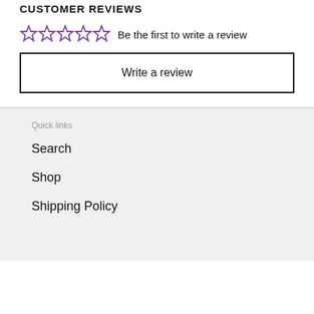CUSTOMER REVIEWS
Be the first to write a review
Write a review
Quick links
Search
Shop
Shipping Policy